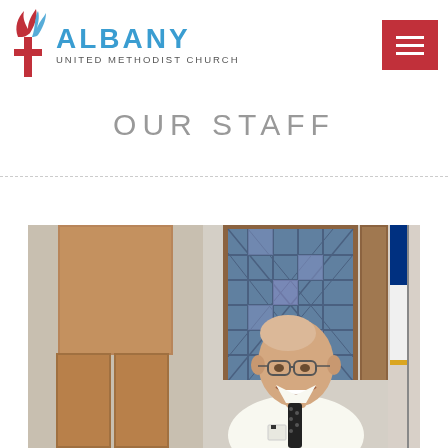Albany United Methodist Church — navigation header with logo and menu button
OUR STAFF
[Figure (photo): Photograph of a smiling bald man wearing glasses and a dark polka-dot tie, white dress shirt, standing in a church setting with stained glass windows visible in the background and a flag to the right.]